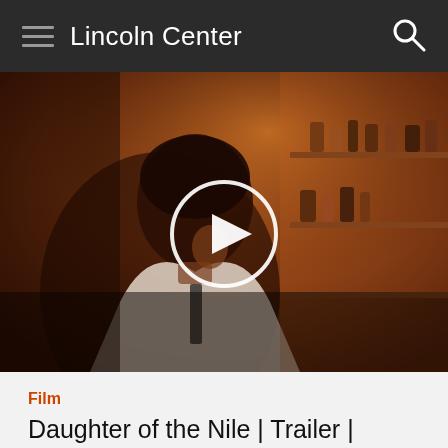Lincoln Center
[Figure (screenshot): Video thumbnail of a man in a white shirt in a warm-toned bar setting, with a circular play button overlay in the center.]
Film
Daughter of the Nile | Trailer | NYFF55
Film at Lincoln Center